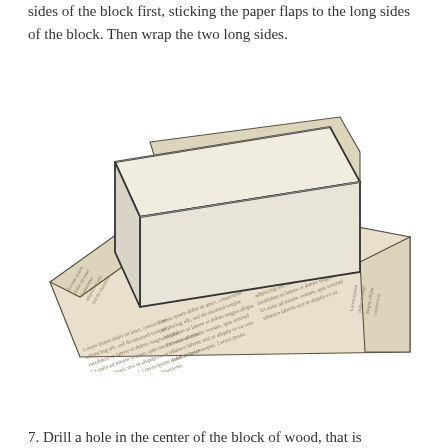sides of the block first, sticking the paper flaps to the long sides of the block. Then wrap the two long sides.
[Figure (illustration): An illustration of a rectangular block (pale beige/cream colored) sitting on a large sheet of newspaper-print wrapping paper. The paper has printed text (lorem ipsum style) and is folded up around the block, showing the wrapping technique with flaps on the sides.]
7. Drill a hole in the center of the block of wood, that is